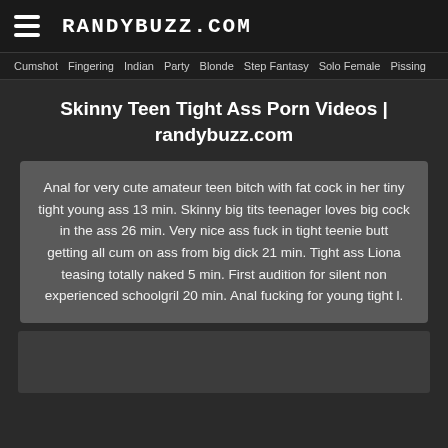RANDYBUZZ.COM
Cumshot  Fingering  Indian  Party  Blonde  Step Fantasy  Solo Female  Pissing
Skinny Teen Tight Ass Porn Videos | randybuzz.com
Anal for very cute amateur teen bitch with fat cock in her tiny tight young ass 13 min. Skinny big tits teenager loves big cock in the ass 26 min. Very nice ass fuck in tight teenie butt getting all cum on ass from big dick 21 min. Tight ass Liona teasing totally naked 5 min. First audition for silent non experienced schoolgril 20 min. Anal fucking for young tight l.
[Figure (photo): Thumbnail strip of video previews at bottom of page]